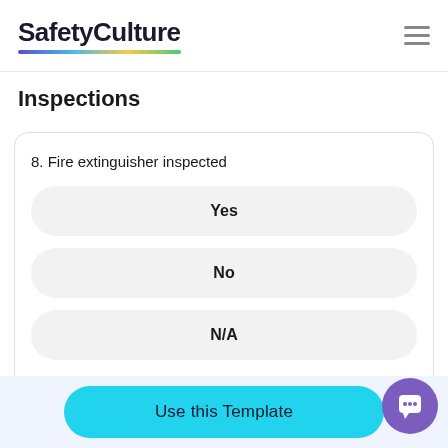SafetyCulture
Inspections
8. Fire extinguisher inspected
Yes
No
N/A
Use this Template